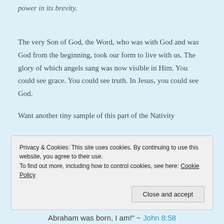power in its brevity.
The very Son of God, the Word, who was with God and was God from the beginning, took our form to live with us. The glory of which angels sang was now visible in Him. You could see grace. You could see truth. In Jesus, you could see God.
Want another tiny sample of this part of the Nativity
Privacy & Cookies: This site uses cookies. By continuing to use this website, you agree to their use.
To find out more, including how to control cookies, see here: Cookie Policy
Close and accept
Abraham was born, I am!" ~ John 8:58